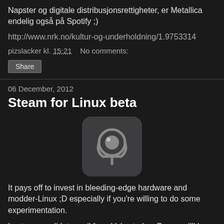Napster og digitale distribusjonsrettigheter, er Metallica endelig også på Spotify ;)
http://www.nrk.no/kultur-og-underholdning/1.9753314
pizslacker kl. 15:21    No comments:
Share
06 December, 2012
Steam for Linux beta
[Figure (logo): Steam logo icon - dark rounded square with steam controller/logo symbol in grey on dark background]
It pays off to invest in bleeding-edge hardware and modder-Linux ;D especially if you're willing to do some experimentation.
I got my candidate-mail from Valve today :P guess I'll be testing Linux-gaming for them ;)